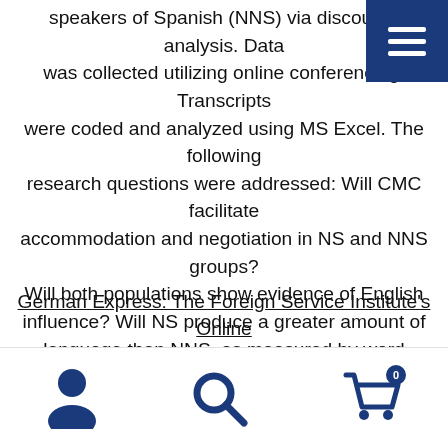speakers of Spanish (NNS) via discourse analysis. Data was collected utilizing online conferencing. Transcripts were coded and analyzed using MS Excel. The following research questions were addressed: Will CMC facilitate accommodation and negotiation in NS and NNS groups? Will both populations show evidence of English influence? Will NS produce a greater amount of language than NNS, as measured by word count? The NS-NNS pairs produced authentic interactions, resulting in complex outputs. The ability to communicate anonymously restructured traditional classroom interaction, resulting in increasingly equal participation between NS and NNS.
German Express: The Foreign Service Institute's Online